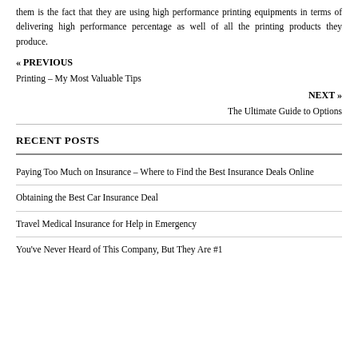them is the fact that they are using high performance printing equipments in terms of delivering high performance percentage as well of all the printing products they produce.
« PREVIOUS
Printing – My Most Valuable Tips
NEXT »
The Ultimate Guide to Options
RECENT POSTS
Paying Too Much on Insurance – Where to Find the Best Insurance Deals Online
Obtaining the Best Car Insurance Deal
Travel Medical Insurance for Help in Emergency
You've Never Heard of This Company, But They Are #1